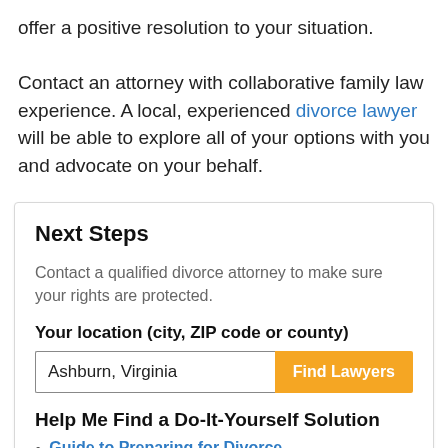offer a positive resolution to your situation. Contact an attorney with collaborative family law experience. A local, experienced divorce lawyer will be able to explore all of your options with you and advocate on your behalf.
Next Steps
Contact a qualified divorce attorney to make sure your rights are protected.
Your location (city, ZIP code or county)
Ashburn, Virginia  [Find Lawyers button]
Help Me Find a Do-It-Yourself Solution
Guide to Preparing for Divorce
Divorce Worksheets by State